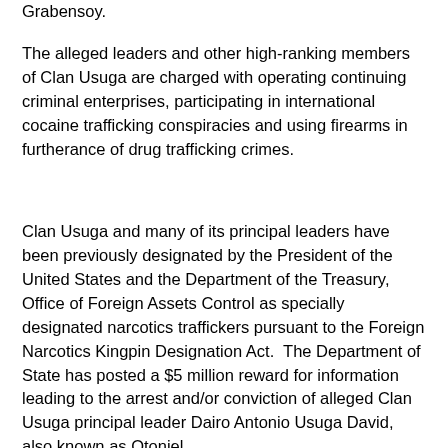Grabensoy.
The alleged leaders and other high-ranking members of Clan Usuga are charged with operating continuing criminal enterprises, participating in international cocaine trafficking conspiracies and using firearms in furtherance of drug trafficking crimes.
Clan Usuga and many of its principal leaders have been previously designated by the President of the United States and the Department of the Treasury, Office of Foreign Assets Control as specially designated narcotics traffickers pursuant to the Foreign Narcotics Kingpin Designation Act.  The Department of State has posted a $5 million reward for information leading to the arrest and/or conviction of alleged Clan Usuga principal leader Dairo Antonio Usuga David, also known as Otoniel.
“The cases referenced today demonstrate that the U.S. government, in collaboration with our international law enforcement partners, continues to successfully combat leaders and associates of BACRIM criminal enterprises that seek to supply narcotics to the United States,” said U.S.